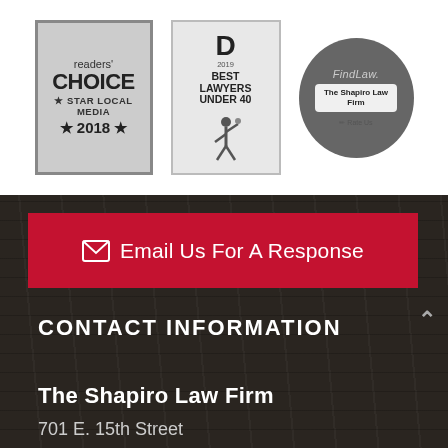[Figure (logo): Readers' Choice Star Local Media 2018 badge]
[Figure (logo): Best Lawyers Under 40 D Magazine badge with figure illustration]
[Figure (logo): FindLaw circular badge with The Shapiro Law Firm and Rate Us]
Email Us For A Response
CONTACT INFORMATION
The Shapiro Law Firm
701 E. 15th Street